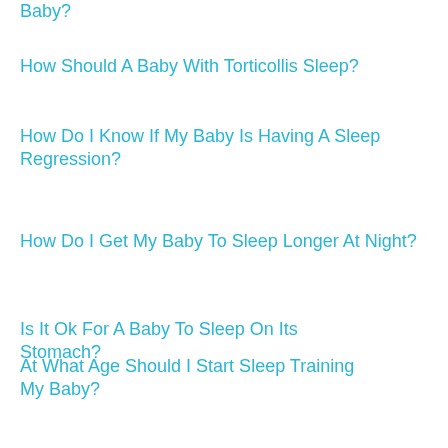Baby?
How Should A Baby With Torticollis Sleep?
How Do I Know If My Baby Is Having A Sleep Regression?
How Do I Get My Baby To Sleep Longer At Night?
Is It Ok For A Baby To Sleep On Its Stomach?
At What Age Should I Start Sleep Training My Baby?
Is It Ok To Put Baby To Sleep Without Burping?
What Music Helps A Baby Sleep?
Is It Ok For a Baby To Sleep With Music On?
How Do I Get My Baby To Sleep Without Being